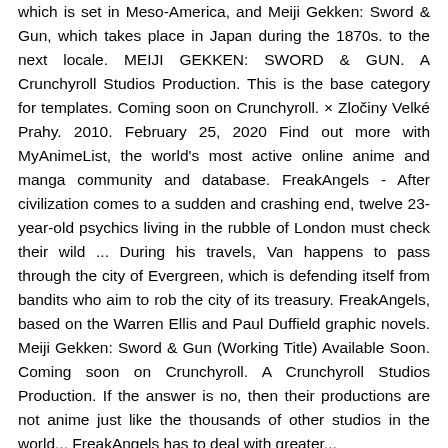which is set in Meso-America, and Meiji Gekken: Sword & Gun, which takes place in Japan during the 1870s. to the next locale. MEIJI GEKKEN: SWORD & GUN. A Crunchyroll Studios Production. This is the base category for templates. Coming soon on Crunchyroll. × Zločiny Velké Prahy. 2010. February 25, 2020 Find out more with MyAnimeList, the world's most active online anime and manga community and database. FreakAngels - After civilization comes to a sudden and crashing end, twelve 23-year-old psychics living in the rubble of London must check their wild ... During his travels, Van happens to pass through the city of Evergreen, which is defending itself from bandits who aim to rob the city of its treasury. FreakAngels, based on the Warren Ellis and Paul Duffield graphic novels. Meiji Gekken: Sword & Gun (Working Title) Available Soon. Coming soon on Crunchyroll. A Crunchyroll Studios Production. If the answer is no, then their productions are not anime just like the thousands of other studios in the world... FreakAngels has to deal with greater...